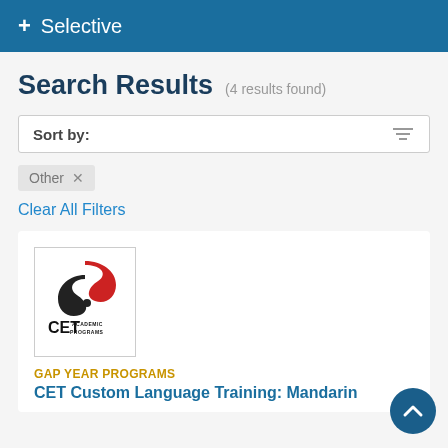+ Selective
Search Results  (4 results found)
Sort by:
Other ×
Clear All Filters
[Figure (logo): CET Academic Programs logo — red and black circular swoosh with CET ACADEMIC PROGRAMS text below]
Gap Year Programs
CET Custom Language Training: Mandarin